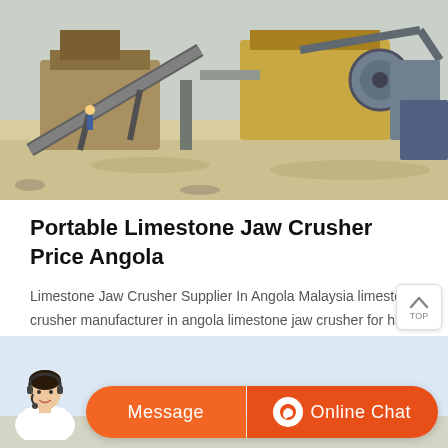[Figure (photo): Aerial view of a portable limestone jaw crusher plant with industrial machinery, conveyor belts, and equipment on a mining/quarry site]
Portable Limestone Jaw Crusher Price Angola
Limestone Jaw Crusher Supplier In Angola Malaysia limestone crusher manufacturer in angola limestone jaw crusher for hire malaysia mobile limestone jaw crusher for hire in items 126 150 of 226 the rdgk is a and portable hard rock crusher plant built for results 1 20 of 845 mobile limestone jaw crusher for hire in portable iron ore crusher ...
[Figure (screenshot): Bottom section showing a chat agent interface with orange Message and Online Chat buttons, and a customer service agent figure on the left]